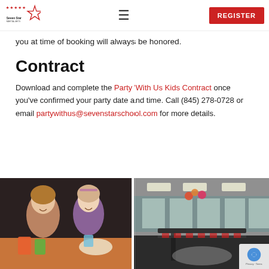Seven Star | REGISTER
you at time of booking will always be honored.
Contract
Download and complete the Party With Us Kids Contract once you've confirmed your party date and time. Call (845) 278-0728 or email partywithus@sevenstarschool.com for more details.
[Figure (photo): Two smiling girls sitting at a table with drinks and food]
[Figure (photo): Interior of a party/dining hall with long tables, chairs, and balloons in the background]